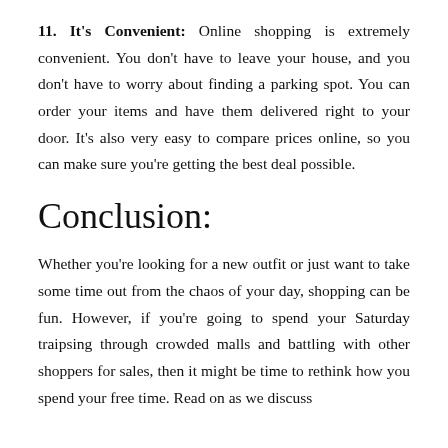11. It's Convenient: Online shopping is extremely convenient. You don't have to leave your house, and you don't have to worry about finding a parking spot. You can order your items and have them delivered right to your door. It's also very easy to compare prices online, so you can make sure you're getting the best deal possible.
Conclusion:
Whether you're looking for a new outfit or just want to take some time out from the chaos of your day, shopping can be fun. However, if you're going to spend your Saturday traipsing through crowded malls and battling with other shoppers for sales, then it might be time to rethink how you spend your free time. Read on as we discuss